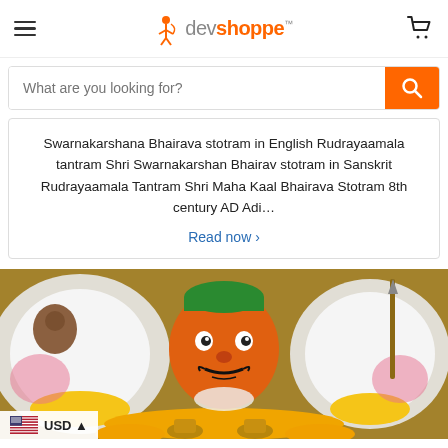devshoppe (logo with hamburger menu and cart icon)
What are you looking for?
Swarnakarshana Bhairava stotram in English Rudrayaamala tantram Shri Swarnakarshan Bhairav stotram in Sanskrit Rudrayaamala Tantram Shri Maha Kaal Bhairava Stotram 8th century AD Adi…
Read now ›
[Figure (photo): Deity idol decorated with flower garlands including white and yellow marigold flowers, with a painted orange face, mustache, and colorful adornments. Metal lamps (diyas) in the foreground.]
USD ▲